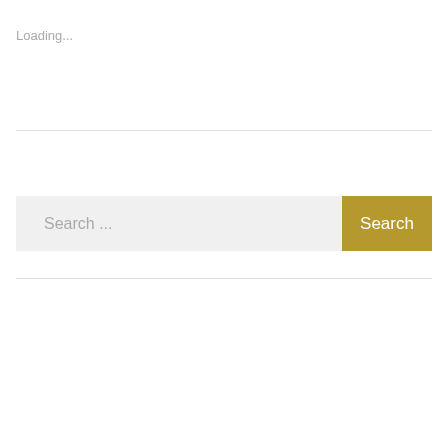Loading...
[Figure (screenshot): A search bar UI with a light gray input field showing placeholder text 'Search ...' and a gold/olive colored 'Search' button on the right side.]